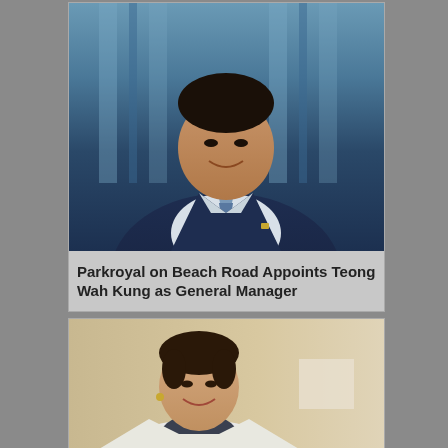[Figure (photo): Professional headshot of Teong Wah Kung, an Asian man in a dark navy suit with a light blue tie, smiling, photographed against a blurred interior background with vertical elements]
Parkroyal on Beach Road Appoints Teong Wah Kung as General Manager
[Figure (photo): Professional headshot of a woman with dark hair pulled back, wearing a white blazer over a dark top, smiling, photographed against a warm beige interior background]